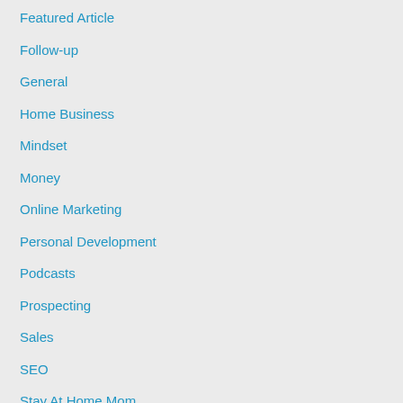Featured Article
Follow-up
General
Home Business
Mindset
Money
Online Marketing
Personal Development
Podcasts
Prospecting
Sales
SEO
Stay At Home Mom
Team Building
Viral Videos